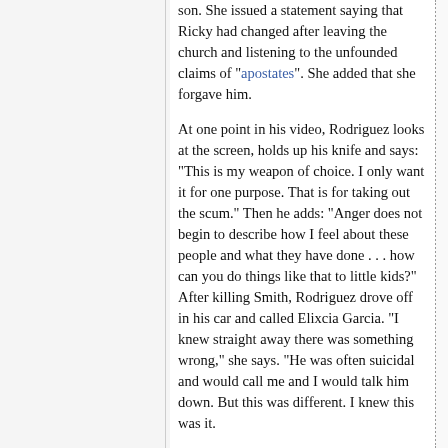son. She issued a statement saying that Ricky had changed after leaving the church and listening to the unfounded claims of "apostates". She added that she forgave him.
At one point in his video, Rodriguez looks at the screen, holds up his knife and says: "This is my weapon of choice. I only want it for one purpose. That is for taking out the scum." Then he adds: "Anger does not begin to describe how I feel about these people and what they have done . . . how can you do things like that to little kids?" After killing Smith, Rodriguez drove off in his car and called Elixcia Garcia. "I knew straight away there was something wrong," she says. "He was often suicidal and would call me and I would talk him down. But this was different. I knew this was it.
"He kept saying 'My God, what have I done?' I knew someone was either hurt or dead but he wouldn't tell me...